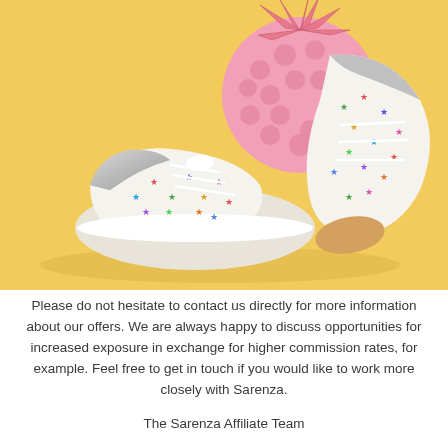[Figure (photo): Product photo of two white children's sneakers with multicolored stars pattern and silver toe caps, placed on a yellow background next to a pink decorative pineapple. The shoes are lace-up style with metallic silver toe caps.]
Please do not hesitate to contact us directly for more information about our offers. We are always happy to discuss opportunities for increased exposure in exchange for higher commission rates, for example. Feel free to get in touch if you would like to work more closely with Sarenza.
The Sarenza Affiliate Team